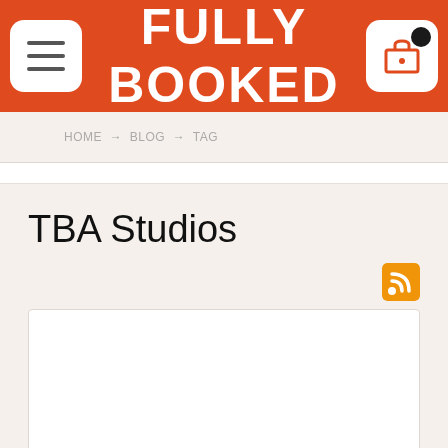FULLY BOOKED
HOME → BLOG → TAG
TBA Studios
[Figure (other): RSS feed icon - orange square with white RSS symbol]
[Figure (other): White article card/content box]